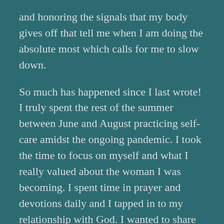and honoring the signals that my body gives off that tell me when I am doing the absolute most which calls for me to slow down.
So much has happened since I last wrote! I truly spent the rest of the summer between June and August practicing self-care amidst the ongoing pandemic. I took the time to focus on myself and what I really valued about the woman I was becoming. I spent time in prayer and devotions daily and I tapped in to my relationship with God. I wanted to share some highlights of my experience this past year because it has truly been a year of learning, growth and blessings!
In September I was nominated for and won a